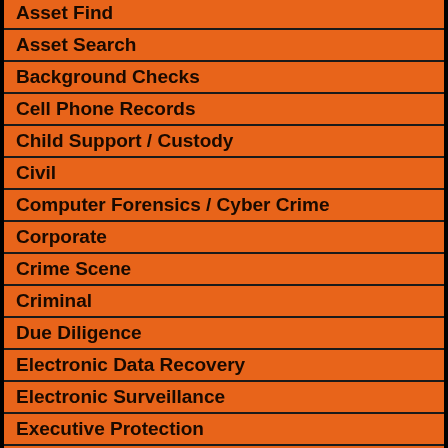Asset Find (partial, top cut off)
Asset Search
Background Checks
Cell Phone Records
Child Support / Custody
Civil
Computer Forensics / Cyber Crime
Corporate
Crime Scene
Criminal
Due Diligence
Electronic Data Recovery
Electronic Surveillance
Executive Protection
Financial
Forensic